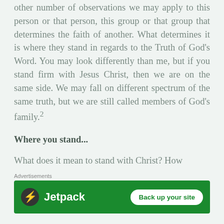other number of observations we may apply to this person or that person, this group or that group that determines the faith of another. What determines it is where they stand in regards to the Truth of God's Word. You may look differently than me, but if you stand firm with Jesus Christ, then we are on the same side. We may fall on different spectrum of the same truth, but we are still called members of God's family.²
Where you stand...
What does it mean to stand with Christ? How
Advertisements
[Figure (other): Jetpack advertisement banner with green background, Jetpack logo on left, and 'Back up your site' white button on right]